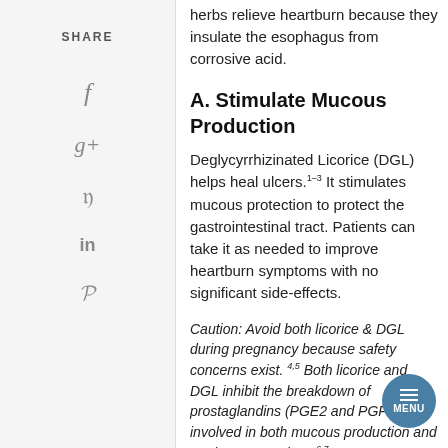herbs relieve heartburn because they insulate the esophagus from corrosive acid.
A. Stimulate Mucous Production
Deglycyrrhizinated Licorice (DGL) helps heal ulcers.1–3 It stimulates mucous protection to protect the gastrointestinal tract. Patients can take it as needed to improve heartburn symptoms with no significant side-effects.
Caution: Avoid both licorice & DGL during pregnancy because safety concerns exist. 4,5  Both licorice and DGL inhibit the breakdown of prostaglandins (PGE2 and PGF-2α) involved in both mucous production and uterine contractions.6,7
B. Supplement with Mucilage
Some demulcents herbs, like marshmallow